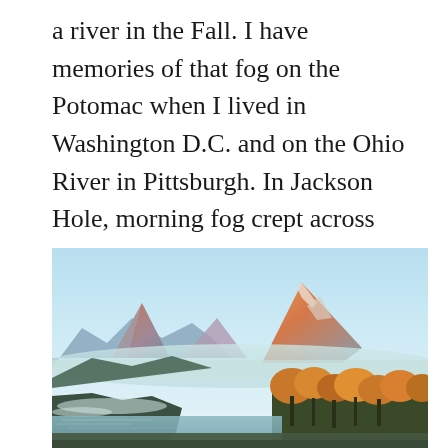a river in the Fall. I have memories of that fog on the Potomac when I lived in Washington D.C. and on the Ohio River in Pittsburgh. In Jackson Hole, morning fog crept across the Snake River as we watched the sun rise.  A thicker layer of fog — not so translucent — filled in the valley closer to the mountains.
[Figure (photo): Landscape photograph of the Teton mountain range at sunrise, with orange-lit peaks, a layer of fog in the valley, autumn-colored trees in the foreground, and a calm river or pond at the bottom left.]